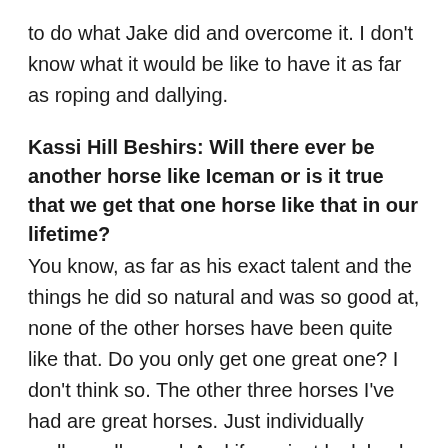to do what Jake did and overcome it. I don't know what it would be like to have it as far as roping and dallying.
Kassi Hill Beshirs: Will there ever be another horse like Iceman or is it true that we get that one horse like that in our lifetime?
You know, as far as his exact talent and the things he did so natural and was so good at, none of the other horses have been quite like that. Do you only get one great one? I don't think so. The other three horses I've had are great horses. Just individually really, really good. And if you just look back over all the really good hroses in the PRCA over the last 50 years, I've had four of them. Will there be another